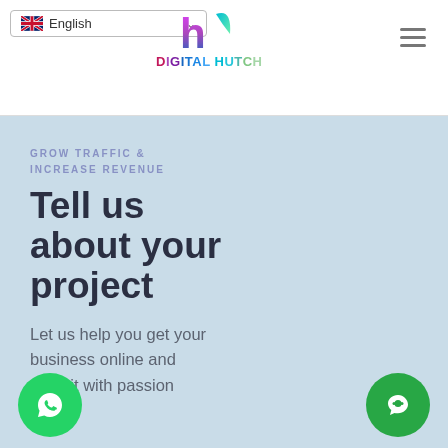English language selector | Digital Hutch logo | hamburger menu
GROW TRAFFIC & INCREASE REVENUE
Tell us about your project
Let us help you get your business online and grow it with passion
[Figure (logo): WhatsApp icon — green circle with white phone handset]
[Figure (logo): Chat / messenger icon — green circle with white speech bubble person]